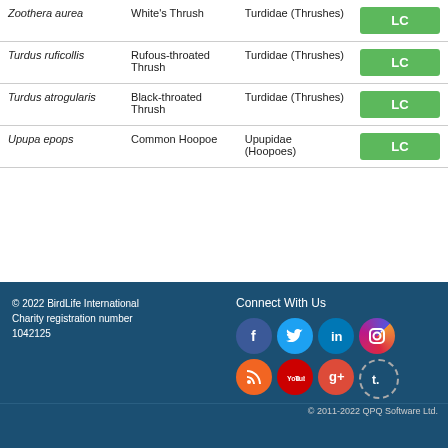| Scientific Name | Common Name | Family | Status |
| --- | --- | --- | --- |
| Zoothera aurea | White's Thrush | Turdidae (Thrushes) | LC |
| Turdus ruficollis | Rufous-throated Thrush | Turdidae (Thrushes) | LC |
| Turdus atrogularis | Black-throated Thrush | Turdidae (Thrushes) | LC |
| Upupa epops | Common Hoopoe | Upupidae (Hoopoes) | LC |
© 2022 BirdLife International Charity registration number 1042125 | Connect With Us | © 2011-2022 QPQ Software Ltd.